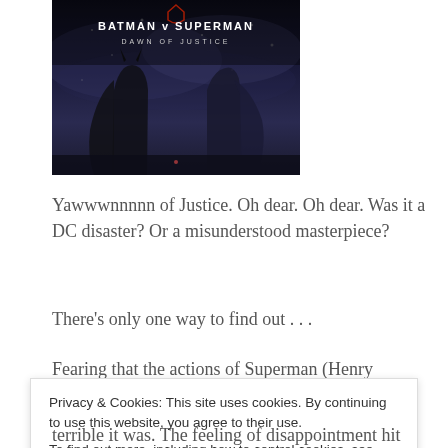[Figure (photo): Movie poster for Batman v Superman: Dawn of Justice showing two caped figures facing off against a dark, atmospheric background with the film title text]
Yawwwnnnnn of Justice. Oh dear. Oh dear. Was it a DC disaster? Or a misunderstood masterpiece?
There's only one way to find out . . .
Fearing that the actions of Superman (Henry Cavill) are
Privacy & Cookies: This site uses cookies. By continuing to use this website, you agree to their use. To find out more, including how to control cookies, see here: Cookie Policy
terrible it was. The feeling of disappointment hit me in